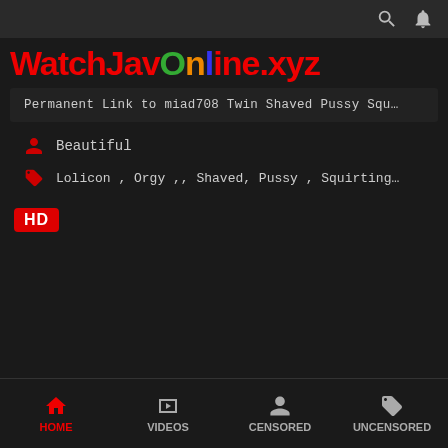WatchJavOnline.xyz
Permanent Link to miad708 Twin Shaved Pussy Squ…
Beautiful
Lolicon , Orgy ,, Shaved, Pussy , Squirting…
[Figure (other): HD badge label in red]
HOME  VIDEOS  CENSORED  UNCENSORED